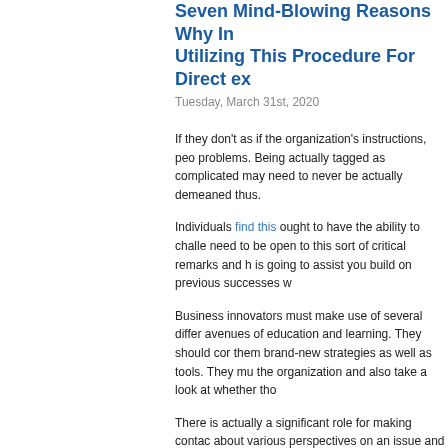Seven Mind-Blowing Reasons Why In Utilizing This Procedure For Direct ex
Tuesday, March 31st, 2020
If they don't as if the organization's instructions, peo problems. Being actually tagged as complicated may need to never be actually demeaned thus.
Individuals find this ought to have the ability to challe need to be open to this sort of critical remarks and h is going to assist you build on previous successes w
Business innovators must make use of several differ avenues of education and learning. They should cor them brand-new strategies as well as tools. They mu the organization and also take a look at whether tho
There is actually a significant role for making contac about various perspectives on an issue and to take i accommodate right into your own point of scenery, s assists you know exactly how others look at a specif with all yours.
Do you would like to be a sector forerunner? Begin t aspects that trigger helpful management.
Sector management is actually a set of efficiency qu actually the type as well as market values of leaders upon which it is based, and also the attitude of thos